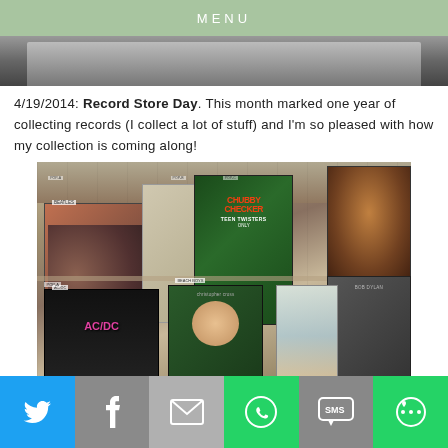MENU
[Figure (photo): Partial view of a dark image at top of page, partially cropped]
4/19/2014: Record Store Day. This month marked one year of collecting records (I collect a lot of stuff) and I'm so pleased with how my collection is coming along!
[Figure (photo): Photo of a record store with vinyl records in bins including Beatles, AC/DC, Chubby Checker and the Teen Twisters, Christopher Cross, Bob Dylan, and other albums]
[Figure (infographic): Social sharing bar with icons for Twitter, Facebook, Email, WhatsApp, SMS, and More]